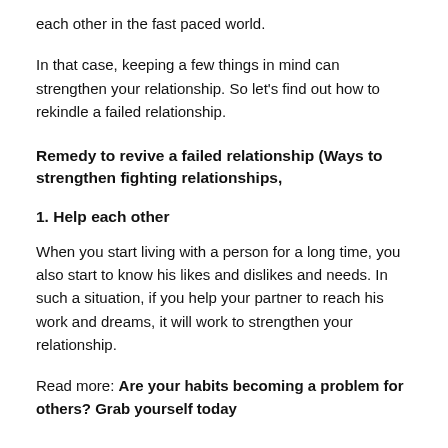each other in the fast paced world.
In that case, keeping a few things in mind can strengthen your relationship. So let's find out how to rekindle a failed relationship.
Remedy to revive a failed relationship (Ways to strengthen fighting relationships,
1. Help each other
When you start living with a person for a long time, you also start to know his likes and dislikes and needs. In such a situation, if you help your partner to reach his work and dreams, it will work to strengthen your relationship.
Read more: Are your habits becoming a problem for others? Grab yourself today